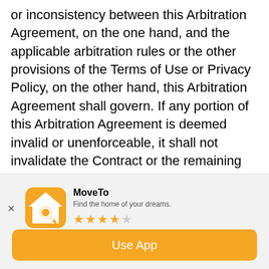or inconsistency between this Arbitration Agreement, on the one hand, and the applicable arbitration rules or the other provisions of the Terms of Use or Privacy Policy, on the other hand, this Arbitration Agreement shall govern. If any portion of this Arbitration Agreement is deemed invalid or unenforceable, it shall not invalidate the Contract or the remaining portions of this Arbitration Agreement, except that:

(A) The parties acknowledge that the Class Action Waiver is material and essential to the arbitration
[Figure (screenshot): App install banner for 'MoveTo' app. Shows app icon (orange house with magnifying glass), app name 'MoveTo', tagline 'Find the home of your dreams.', 3.5-star rating, and an orange 'Use App' button.]